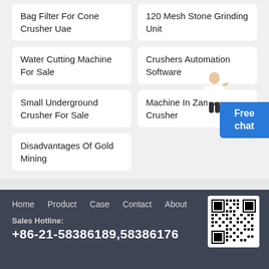Bag Filter For Cone Crusher Uae
120 Mesh Stone Grinding Unit
Water Cutting Machine For Sale
Crushers Automation Software
Small Underground Crusher For Sale
Machine In Zambia Crusher
Disadvantages Of Gold Mining
Home   Product   Case   Contact   About
Sales Hotline:
+86-21-58386189,58386176
[Figure (other): QR code for website/contact]